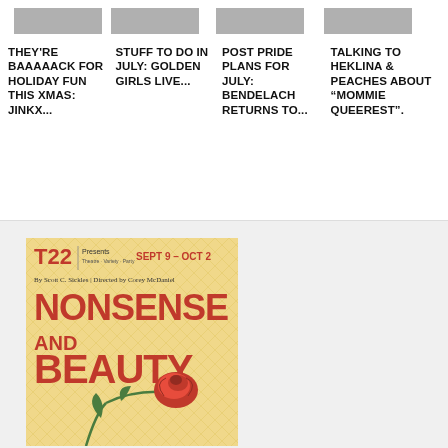[Figure (photo): Four small grayscale thumbnail photos in a row above article titles]
THEY'RE BAAAAACK FOR HOLIDAY FUN THIS XMAS: JINKX...
STUFF TO DO IN JULY: GOLDEN GIRLS LIVE...
POST PRIDE PLANS FOR JULY: BENDELACH RETURNS TO...
TALKING TO HEKLINA & PEACHES ABOUT "MOMMIE QUEEREST".
[Figure (illustration): T22 theatre advertisement for 'Nonsense and Beauty' by Scott C. Sickles, directed by Corey McDaniel, Sept 9 – Oct 2, with a red rose illustration on a golden diamond-pattern background]